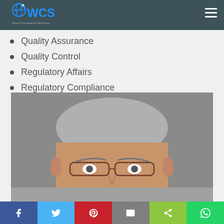WCS World Compliance Seminars
Quality Assurance
Quality Control
Regulatory Affairs
Regulatory Compliance
[Figure (photo): Partial face of an older man with grey hair and glasses, photographed against a neutral grey background]
Social share bar: Facebook, Twitter, Pinterest, Email, Share, WhatsApp